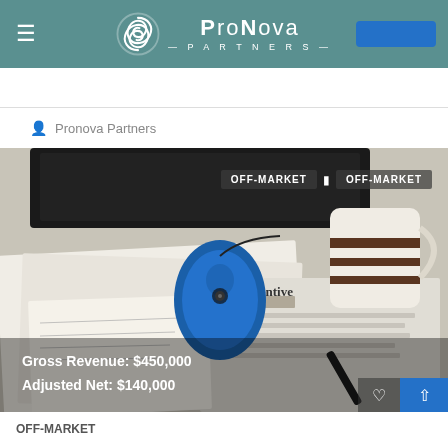ProNova Partners
Pronova Partners
[Figure (photo): Desk scene with a blue wireless mouse, striped coffee mug, laptop, newspaper with 'Tax Incentive' headline, financial documents with handwriting, and a pen. Two OFF-MARKET badges in the top right corner. Overlay text: Gross Revenue: $450,000 / Adjusted Net: $140,000.]
OFF-MARKET